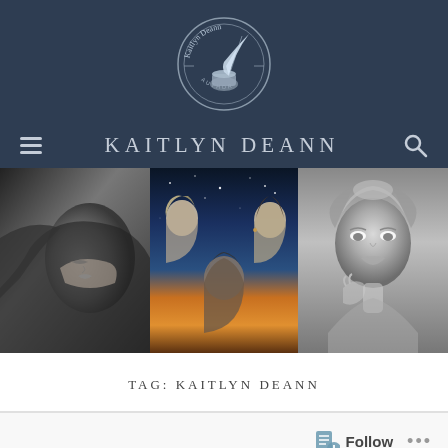[Figure (logo): Kaitlyn Deann Author logo — circular emblem with quill pen and ink pot, cursive text 'Kaitlyn Deann' around top arc and 'AUTHOR' at bottom]
KAITLYN DEANN
[Figure (photo): Horizontal strip of three photos: left — black and white photo of a woman lying back with her face tilted upward; center — color book cover image showing two women and a man facing each other against a dramatic sky/cosmos background; right — black and white photo of a blonde woman with her hand near her chin]
TAG: KAITLYN DEANN
[Figure (screenshot): Follow button area at bottom with WordPress Follow icon and '...' more options dots, showing bottom edge of website]
Follow